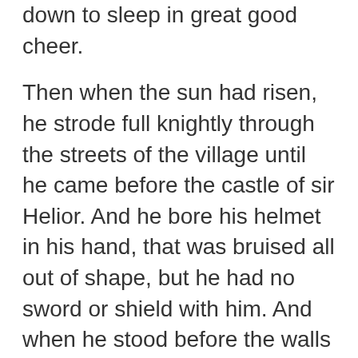down to sleep in great good cheer.
Then when the sun had risen, he strode full knightly through the streets of the village until he came before the castle of sir Helior. And he bore his helmet in his hand, that was bruised all out of shape, but he had no sword or shield with him. And when he stood before the walls he let out a great cry, as he had heard sir Launceleot or sir Tristram cry upon the tournament field: “I seek the false knight sir Helior of the Thorn!”
Then there came upon the walls a man passing big, and said, “False knight, you call me, scarecrow? And what knight are thou, with armour all torent? What knight are thou, bearing nor shield nor sword? What knight are